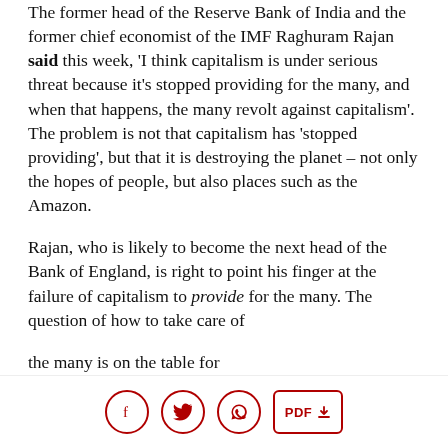The former head of the Reserve Bank of India and the former chief economist of the IMF Raghuram Rajan said this week, 'I think capitalism is under serious threat because it's stopped providing for the many, and when that happens, the many revolt against capitalism'. The problem is not that capitalism has 'stopped providing', but that it is destroying the planet – not only the hopes of people, but also places such as the Amazon.
Rajan, who is likely to become the next head of the Bank of England, is right to point his finger at the failure of capitalism to provide for the many. The question of how to take care of the many is on the table for
[social share icons: Facebook, Twitter, WhatsApp, PDF download]